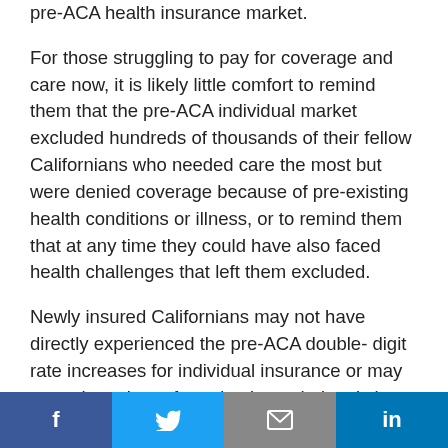pre-ACA health insurance market.
For those struggling to pay for coverage and care now, it is likely little comfort to remind them that the pre-ACA individual market excluded hundreds of thousands of their fellow Californians who needed care the most but were denied coverage because of pre-existing health conditions or illness, or to remind them that at any time they could have also faced health challenges that left them excluded.
Newly insured Californians may not have directly experienced the pre-ACA double- digit rate increases for individual insurance or may never have been forced to keep their existing plan when prices rose without being able to shop other carriers. Pre-ACA, dramatic premium
Social share bar: Facebook, Twitter, Email, LinkedIn